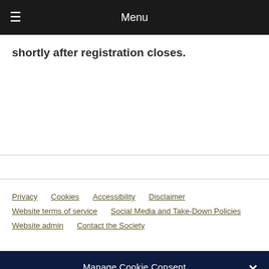Menu
shortly after registration closes.
Privacy   Cookies   Accessibility   Disclaimer   Website terms of service   Social Media and Take-Down Policies   Website admin   Contact the Society
Manage Cookie Consent
We use cookies to optimise our website and our service.
ACCEPT